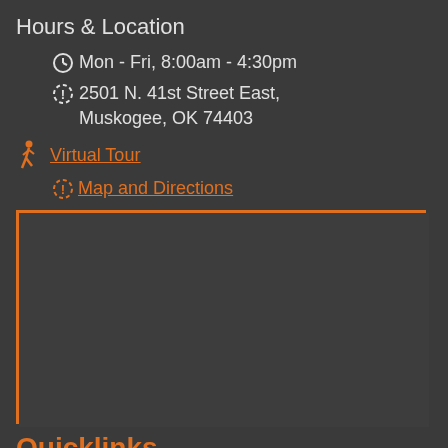Hours & Location
Mon - Fri, 8:00am - 4:30pm
2501 N. 41st Street East, Muskogee, OK 74403
Virtual Tour
Map and Directions
[Figure (other): Map placeholder with orange border, empty dark background]
Quicklinks